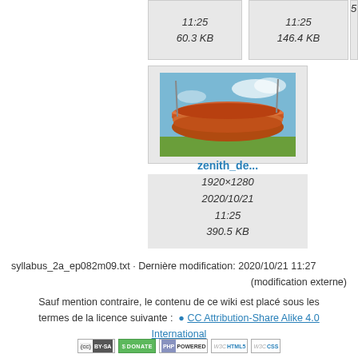[Figure (screenshot): Top portion of file browser showing two partially visible file cards with timestamps 11:25 and file sizes 60.3 KB and 146.4 KB]
[Figure (photo): Thumbnail of zenith_de... file showing a circular orange stadium building against a blue sky with green grass]
zenith_de...
1920×1280
2020/10/21
11:25
390.5 KB
syllabus_2a_ep082m09.txt · Dernière modification: 2020/10/21 11:27
(modification externe)
Sauf mention contraire, le contenu de ce wiki est placé sous les termes de la licence suivante :  CC Attribution-Share Alike 4.0 International
[Figure (logo): Badge row: CC BY-SA, Donate, PHP Powered, W3C HTML5, W3C CSS]